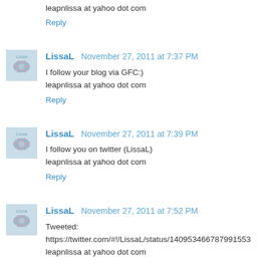leapnlissa at yahoo dot com
Reply
LissaL  November 27, 2011 at 7:37 PM
I follow your blog via GFC:)
leapnlissa at yahoo dot com
Reply
LissaL  November 27, 2011 at 7:39 PM
I follow you on twitter (LissaL)
leapnlissa at yahoo dot com
Reply
LissaL  November 27, 2011 at 7:52 PM
Tweeted:
https://twitter.com/#!/LissaL/status/140953466787991553
leapnlissa at yahoo dot com